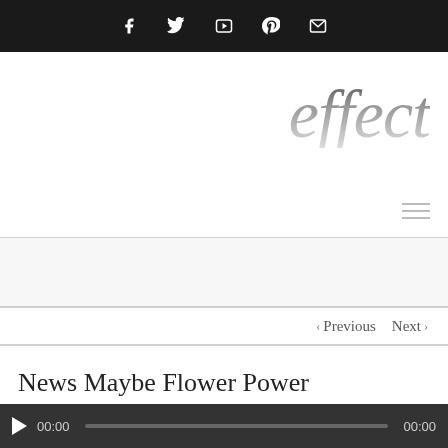Social media icons: Facebook, Twitter, YouTube, Pinterest, Email
effect
[Figure (other): Hamburger menu icon (three horizontal lines)]
< Previous   Next >
News Maybe Flower Power
[Figure (other): Audio player bar with play button, 00:00 timestamp, progress track, and 00:00 end time]